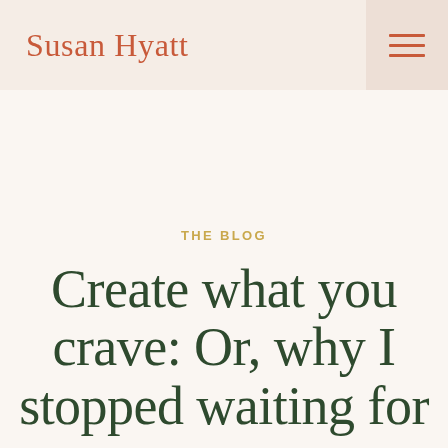Susan Hyatt
THE BLOG
Create what you crave: Or, why I stopped waiting for